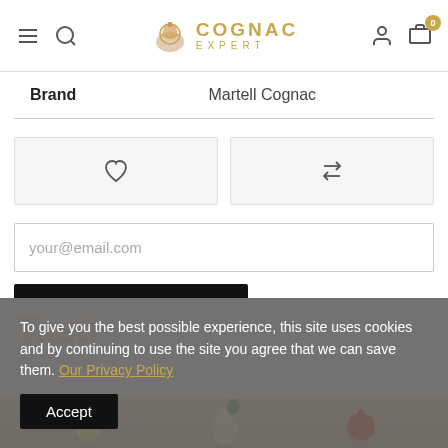Cognac Expert - navigation header with hamburger menu, search, logo, user account, and cart (0)
| Brand |  |
| --- | --- |
| Brand | Martell Cognac |
[Figure (infographic): Two action buttons side by side: a heart/wishlist icon on the left, and a shuffle/compare icon on the right, both on light grey backgrounds]
your@email.com
Notify me when available
To give you the best possible experience, this site uses cookies and by continuing to use the site you agree that we can save them. Our Privacy Policy  Accept